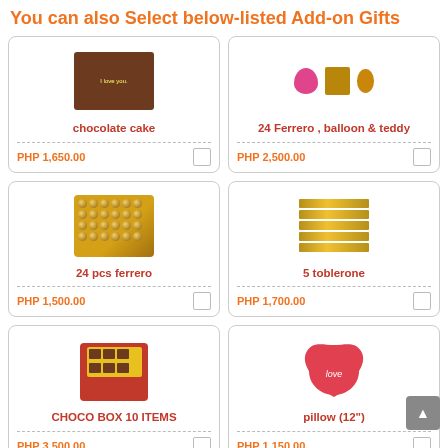You can also Select below-listed Add-on Gifts
[Figure (photo): Chocolate cake with decorations]
chocolate cake
PHP 1,650.00
[Figure (photo): 24 Ferrero, balloon and teddy bear]
24 Ferrero , balloon & teddy
PHP 2,500.00
[Figure (photo): 24 pcs ferrero chocolates in tray]
24 pcs ferrero
PHP 1,500.00
[Figure (photo): 5 Toblerone chocolate bars]
5 toblerone
PHP 1,700.00
[Figure (photo): Choco box with 10 items]
CHOCO BOX 10 ITEMS
PHP 3,500.00
[Figure (photo): Heart-shaped love pillow 12 inches]
pillow (12")
PHP 1,150.00